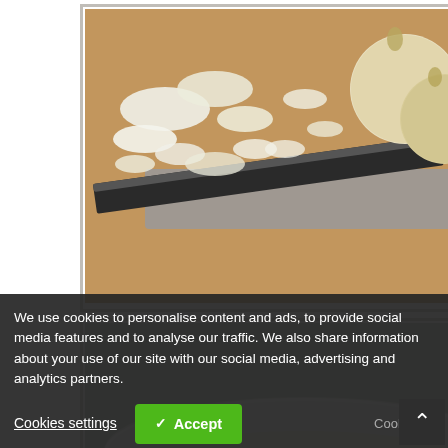[Figure (photo): Photo of chopped onions on a wooden cutting board with a knife]
[Figure (photo): Photo of chopped onions in a white colander/strainer bowl]
[Figure (photo): Photo of jars with preserved vegetables, with red and green decorations on top]
[Figure (photo): Partially visible photo at bottom of page]
We use cookies to personalise content and ads, to provide social media features and to analyse our traffic. We also share information about your use of our site with our social media, advertising and analytics partners.
Cookies settings
✓ Accept
Cookies si